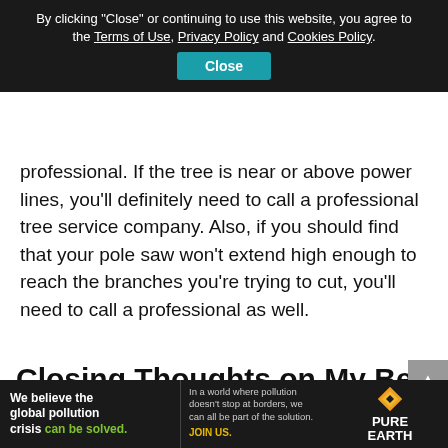By clicking "Close" or continuing to use this website, you agree to the Terms of Use, Privacy Policy and Cookies Policy.
Close
professional. If the tree is near or above power lines, you'll definitely need to call a professional tree service company. Also, if you should find that your pole saw won't extend high enough to reach the branches you're trying to cut, you'll need to call a professional as well.
Closing Thoughts on My Best
[Figure (infographic): Pure Earth advertisement banner. Left side dark background with text: 'We believe the global pollution crisis can be solved.' Middle text on dark background: 'In a world where pollution doesn't stop at borders, we can all be part of the solution. JOIN US.' Right side shows Pure Earth diamond logo with text 'PURE EARTH'.]